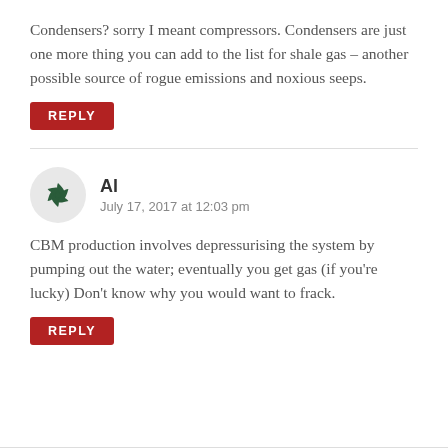Condensers? sorry I meant compressors. Condensers are just one more thing you can add to the list for shale gas – another possible source of rogue emissions and noxious seeps.
REPLY
[Figure (logo): Green decorative snowflake/pinwheel avatar icon for user Al]
Al
July 17, 2017 at 12:03 pm
CBM production involves depressurising the system by pumping out the water; eventually you get gas (if you're lucky) Don't know why you would want to frack.
REPLY